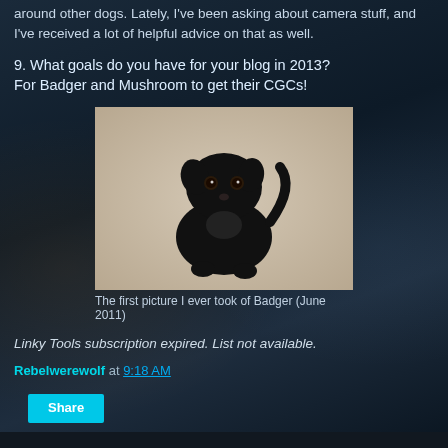around other dogs. Lately, I've been asking about camera stuff, and I've received a lot of helpful advice on that as well.
9. What goals do you have for your blog in 2013?
For Badger and Mushroom to get their CGCs!
[Figure (photo): A small black dog sitting on a beige carpet, looking up at the camera. The dog has round eyes and floppy ears.]
The first picture I ever took of Badger (June 2011)
Linky Tools subscription expired. List not available.
Rebelwerewolf at 9:18 AM
Share